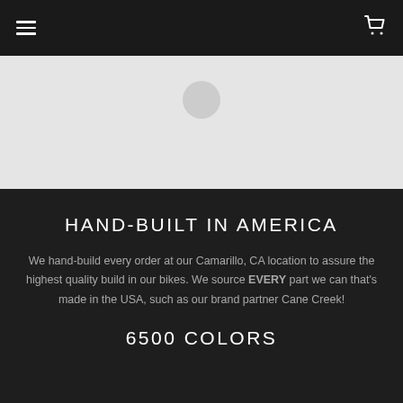Navigation bar with hamburger menu and cart icon
[Figure (illustration): Light gray hero section with a circular element centered near the top]
HAND-BUILT IN AMERICA
We hand-build every order at our Camarillo, CA location to assure the highest quality build in our bikes. We source EVERY part we can that's made in the USA, such as our brand partner Cane Creek!
6500 COLORS